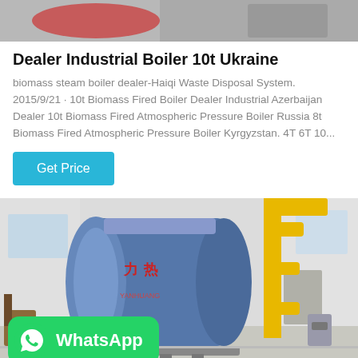[Figure (photo): Top partial image of industrial boiler equipment, partially cropped]
Dealer Industrial Boiler 10t Ukraine
biomass steam boiler dealer-Haiqi Waste Disposal System. 2015/9/21 · 10t Biomass Fired Boiler Dealer Industrial Azerbaijan Dealer 10t Biomass Fired Atmospheric Pressure Boiler Russia 8t Biomass Fired Atmospheric Pressure Boiler Kyrgyzstan. 4T 6T 10...
[Figure (screenshot): WhatsApp button overlay badge with green background]
[Figure (photo): Industrial boiler in a facility room — large blue cylindrical boiler with yellow pipe fittings, Chinese text markings, red burner at front]